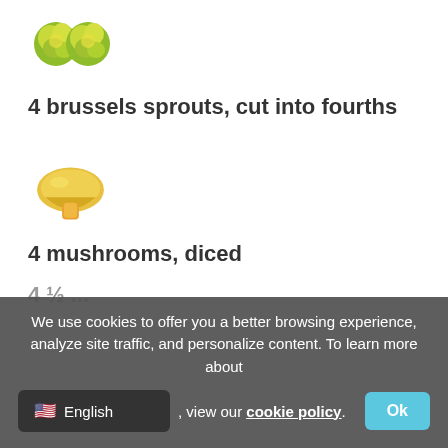[Figure (illustration): Two brussels sprouts illustration, green and yellow]
4 brussels sprouts, cut into fourths
[Figure (illustration): Mushroom illustration, yellow and orange]
4 mushrooms, diced
We use cookies to offer you a better browsing experience, analyze site traffic, and personalize content. To learn more about
, view our cookie policy.
Ok